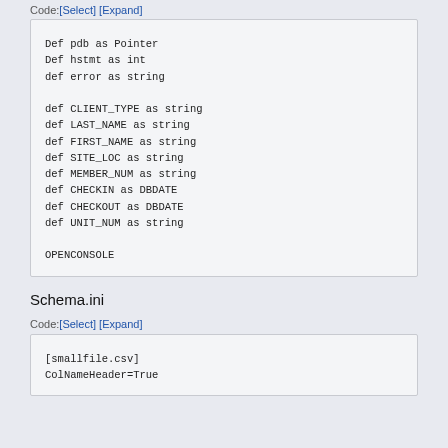Code:[Select] [Expand]
Def pdb as Pointer
Def hstmt as int
def error as string

def CLIENT_TYPE as string
def LAST_NAME as string
def FIRST_NAME as string
def SITE_LOC as string
def MEMBER_NUM as string
def CHECKIN as DBDATE
def CHECKOUT as DBDATE
def UNIT_NUM as string

OPENCONSOLE
Schema.ini
Code:[Select] [Expand]
[smallfile.csv]